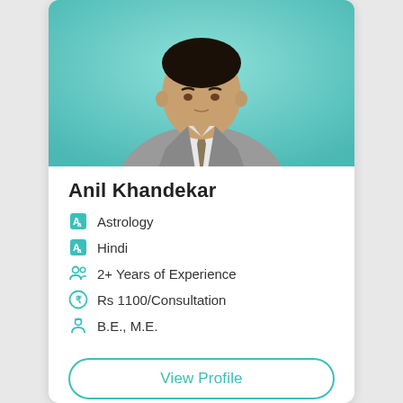[Figure (photo): Profile photo of Anil Khandekar, a man in a grey suit with a tie, against a teal/mint gradient background]
Anil Khandekar
Astrology
Hindi
2+ Years of Experience
Rs 1100/Consultation
B.E., M.E.
View Profile
Book Now